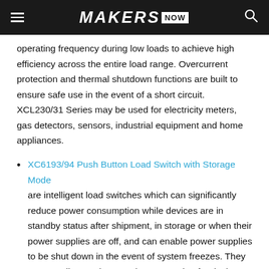MAKERS NOW
operating frequency during low loads to achieve high efficiency across the entire load range. Overcurrent protection and thermal shutdown functions are built to ensure safe use in the event of a short circuit.  XCL230/31 Series may be used for electricity meters, gas detectors, sensors, industrial equipment and home appliances.
XC6193/94 Push Button Load Switch with Storage Mode are intelligent load switches which can significantly reduce power consumption while devices are in standby status after shipment, in storage or when their power supplies are off, and can enable power supplies to be shut down in the event of system freezes. They can contribute to improved power saving for devices, extend operation times and be used as a main power switch in place of a mechanical switch. Some applications include...